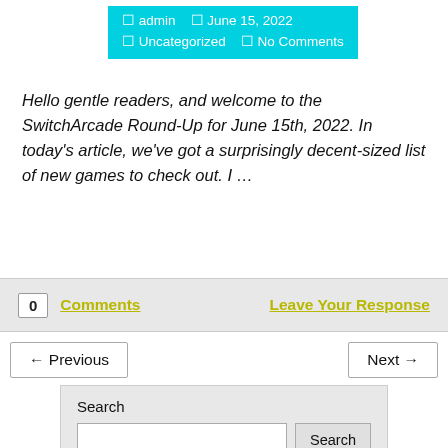🔲 admin  🔲 June 15, 2022  🔲 Uncategorized  🔲 No Comments
Hello gentle readers, and welcome to the SwitchArcade Round-Up for June 15th, 2022. In today's article, we've got a surprisingly decent-sized list of new games to check out. I …
0  Comments    Leave Your Response
← Previous    Next →
Search
[Search input] [Search button]